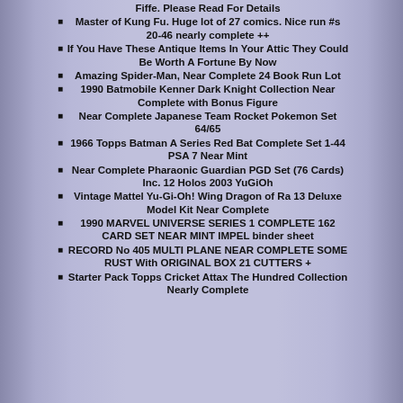Fiffe. Please Read For Details
Master of Kung Fu. Huge lot of 27 comics. Nice run #s 20-46 nearly complete ++
If You Have These Antique Items In Your Attic They Could Be Worth A Fortune By Now
Amazing Spider-Man, Near Complete 24 Book Run Lot
1990 Batmobile Kenner Dark Knight Collection Near Complete with Bonus Figure
Near Complete Japanese Team Rocket Pokemon Set 64/65
1966 Topps Batman A Series Red Bat Complete Set 1-44 PSA 7 Near Mint
Near Complete Pharaonic Guardian PGD Set (76 Cards) Inc. 12 Holos 2003 YuGiOh
Vintage Mattel Yu-Gi-Oh! Wing Dragon of Ra 13 Deluxe Model Kit Near Complete
1990 MARVEL UNIVERSE SERIES 1 COMPLETE 162 CARD SET NEAR MINT IMPEL binder sheet
RECORD No 405 MULTI PLANE NEAR COMPLETE SOME RUST With ORIGINAL BOX 21 CUTTERS +
Starter Pack Topps Cricket Attax The Hundred Collection Nearly Complete